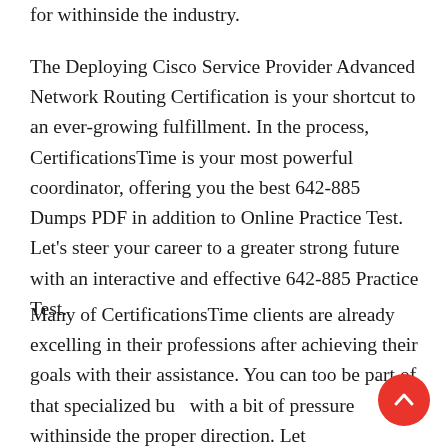for withinside the industry.
The Deploying Cisco Service Provider Advanced Network Routing Certification is your shortcut to an ever-growing fulfillment. In the process, CertificationsTime is your most powerful coordinator, offering you the best 642-885 Dumps PDF in addition to Online Practice Test. Let’s steer your career to a greater strong future with an interactive and effective 642-885 Practice Test.
Many of CertificationsTime clients are already excelling in their professions after achieving their goals with their assistance. You can too be part of that specialized bu… with a bit of pressure withinside the proper direction. Let